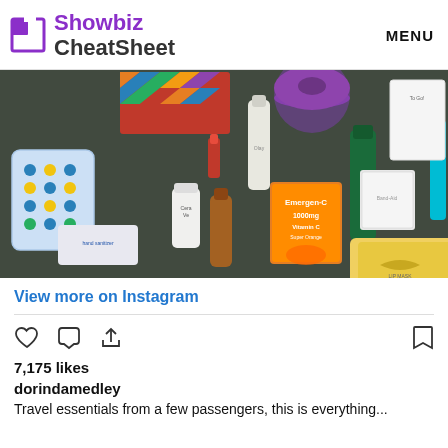Showbiz CheatSheet  MENU
[Figure (photo): Flat-lay photo of various health, beauty and travel products on a dark surface including Emergen-C Vitamin C packet, Cerave lotion, lip mask, hand sanitizer wipes, and various bottles and boxes]
View more on Instagram
[Figure (infographic): Instagram action icons: heart (like), comment bubble, share/upload arrow on the left; bookmark icon on the right]
7,175 likes
dorindamedley
Travel essentials from a few passengers, this is everything...